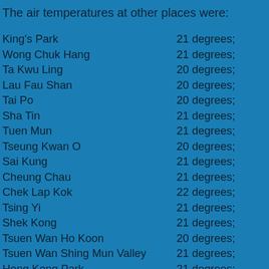The air temperatures at other places were:
King's Park    21 degrees;
Wong Chuk Hang    21 degrees;
Ta Kwu Ling    20 degrees;
Lau Fau Shan    20 degrees;
Tai Po    20 degrees;
Sha Tin    21 degrees;
Tuen Mun    21 degrees;
Tseung Kwan O    20 degrees;
Sai Kung    21 degrees;
Cheung Chau    21 degrees;
Chek Lap Kok    22 degrees;
Tsing Yi    21 degrees;
Shek Kong    21 degrees;
Tsuen Wan Ho Koon    20 degrees;
Tsuen Wan Shing Mun Valley    21 degrees;
Hong Kong Park    21 degrees;
Shau Kei Wan    21 degrees;
Kowloon City    21 degrees;
Happy Valley    21 degrees;
Wong Tai Sin    21 degrees;
Stanley    21 degrees;
Kwun Tong    21 degrees;
Sham Shui Po    21 degrees;